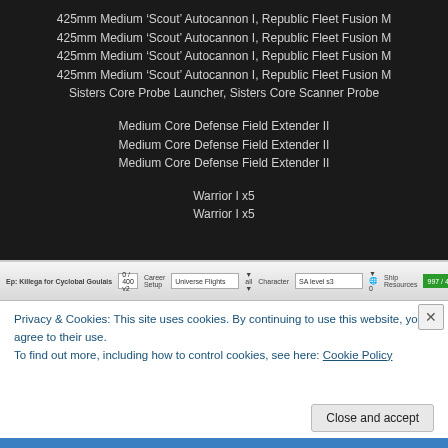425mm Medium ‘Scout’ Autocannon I, Republic Fleet Fusion M
425mm Medium ‘Scout’ Autocannon I, Republic Fleet Fusion M
425mm Medium ‘Scout’ Autocannon I, Republic Fleet Fusion M
425mm Medium ‘Scout’ Autocannon I, Republic Fleet Fusion M
Sisters Core Probe Launcher, Sisters Core Scanner Probe
Medium Core Defense Field Extender II
Medium Core Defense Field Extender II
Medium Core Defense Field Extender II
Warrior I x5
Warrior I x5
[Figure (screenshot): A game or application window toolbar showing career setup, character, and ship resources fields with a green resource bar.]
Privacy & Cookies: This site uses cookies. By continuing to use this website, you agree to their use.
To find out more, including how to control cookies, see here: Cookie Policy
Close and accept